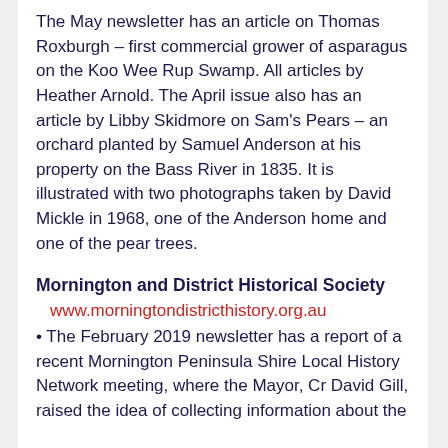The May newsletter has an article on Thomas Roxburgh – first commercial grower of asparagus on the Koo Wee Rup Swamp. All articles by Heather Arnold. The April issue also has an article by Libby Skidmore on Sam's Pears – an orchard planted by Samuel Anderson at his property on the Bass River in 1835. It is illustrated with two photographs taken by David Mickle in 1968, one of the Anderson home and one of the pear trees.
Mornington and District Historical Society
www.morningtondistricthistory.org.au
• The February 2019 newsletter has a report of a recent Mornington Peninsula Shire Local History Network meeting, where the Mayor, Cr David Gill, raised the idea of collecting information about the